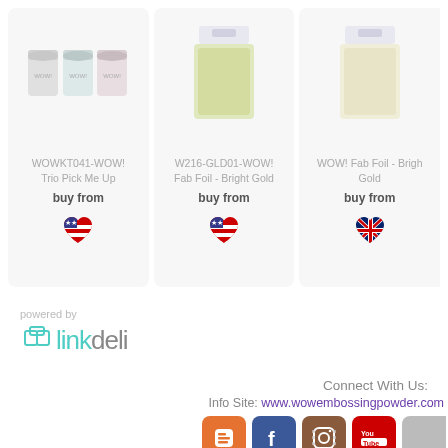[Figure (photo): Product card: WOWKT041-WOW! Trio Pick Me Up - three small jars of embossing powder]
WOWKT041-WOW! Trio Pick Me Up
buy from
[Figure (illustration): USA flag heart icon]
[Figure (photo): Product card: W216-GLD01-WOW! Fab Foil - Bright Gold - gold foil sheet in packaging]
W216-GLD01-WOW! Fab Foil - Bright Gold
buy from
[Figure (illustration): USA flag heart icon]
[Figure (photo): Product card: WOW! Fab Foil - Bright Gold - gold foil sheet in packaging]
WOW! Fab Foil - Bright Gold
buy from
[Figure (illustration): UK flag heart icon]
powered by
[Figure (logo): linkdeli logo in teal and gray]
Connect With Us:
Info Site: www.wowembossingpowder.com
[Figure (logo): Social media icons: Blogger, Facebook, Instagram, YouTube]